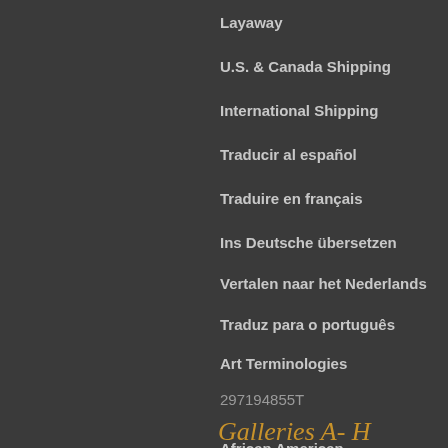Layaway
U.S. & Canada Shipping
International Shipping
Traducir al español
Traduire en français
Ins Deutsche übersetzen
Vertalen naar het Nederlands
Traduz para o português
Art Terminologies
297194855T
Galleries A-H
African American